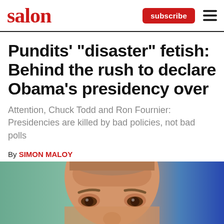salon
Pundits' "disaster" fetish: Behind the rush to declare Obama's presidency over
Attention, Chuck Todd and Ron Fournier: Presidencies are killed by bad policies, not bad polls
By SIMON MALOY
PUBLISHED JUNE 19, 2014 1:32PM (EDT)
[Figure (photo): Close-up photo of a man's face from the nose upward, showing short hair and eyebrows, with a blurred teal/blue background]